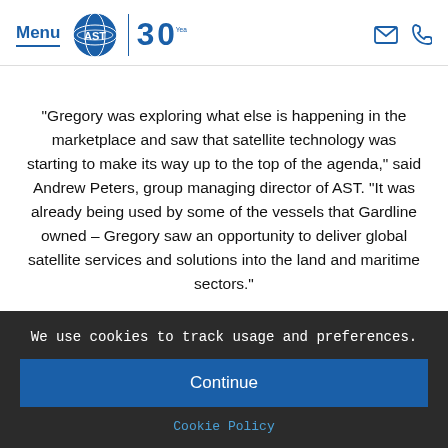Menu | AST 30 Years logo
“Gregory was exploring what else is happening in the marketplace and saw that satellite technology was starting to make its way up to the top of the agenda,” said Andrew Peters, group managing director of AST. “It was already being used by some of the vessels that Gardline owned – Gregory saw an opportunity to deliver global satellite services and solutions into the land and maritime sectors.”
We use cookies to track usage and preferences.
Continue
Cookie Policy